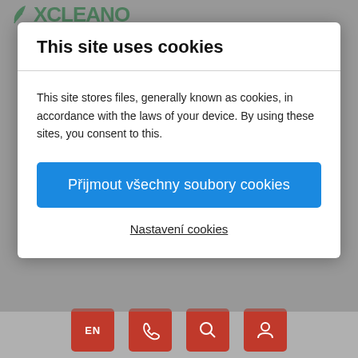[Figure (logo): XCLEANO green leaf logo in top left corner]
This site uses cookies
This site stores files, generally known as cookies, in accordance with the laws of your device. By using these sites, you consent to this.
Přijmout všechny soubory cookies
Nastavení cookies
Concentrated ecological washing gel for washing with soap nuts, ideal for washing and treating colored laundry and delicate matters, very effective cleans gently
[Figure (screenshot): Bottom navigation bar with EN language button, phone/contact icon, search icon, and user account icon, all on red square backgrounds]